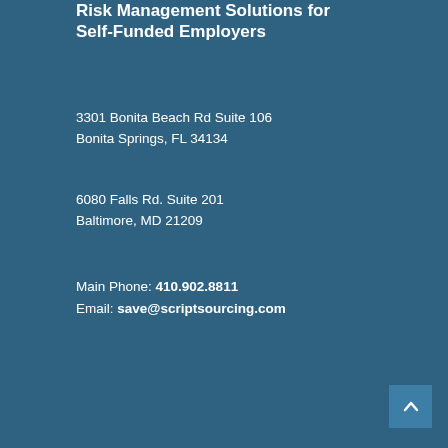Risk Management Solutions for Self-Funded Employers
3301 Bonita Beach Rd Suite 106
Bonita Springs, FL 34134
6080 Falls Rd. Suite 201
Baltimore, MD 21209
Main Phone: 410.902.8811
Email: save@scriptsourcing.com